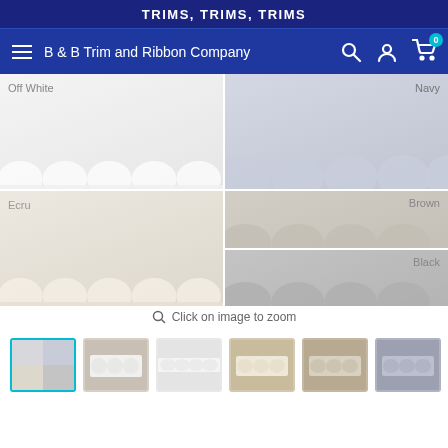TRIMS, TRIMS, TRIMS
B & B Trim and Ribbon Company
[Figure (photo): Product image showing scalloped lace trim swatches in multiple colors arranged in a grid: Off White, Navy, Ecru, Brown, Black]
Click on image to zoom
[Figure (photo): Thumbnail gallery showing 7 product images of the trim/ribbon in different color variants]